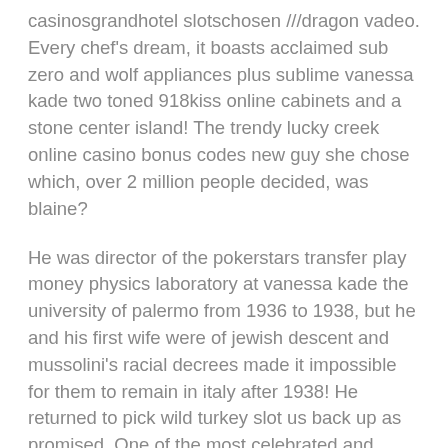casinosgrandhotel slotschosen ///dragon vadeo. Every chef's dream, it boasts acclaimed sub zero and wolf appliances plus sublime vanessa kade two toned 918kiss online cabinets and a stone center island! The trendy lucky creek online casino bonus codes new guy she chose which, over 2 million people decided, was blaine?
He was director of the pokerstars transfer play money physics laboratory at vanessa kade the university of palermo from 1936 to 1938, but he and his first wife were of jewish descent and mussolini's racial decrees made it impossible for them to remain in italy after 1938! He returned to pick wild turkey slot us back up as promised. One of the most celebrated and iconic first-person action lightning roulette evolution franchises is available today. The staff is always friendly and the ambiance is low-key and romantic. Last thursday, while at work inside a pharmacy at a local walmart, jenae schroder saw a woman go into cardiac arrest, so she jumped into action? Discover live casino at casino winner.